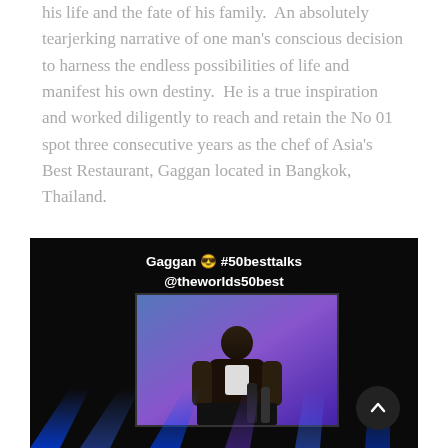his life and the fate of his family.  An absolutely tearjerking narrative of one man's conscious decision to harness the endless possibilities of life and manifest his own destiny.  He is a true inspiration and worked diligently to reach and retain the No 01 spot three consecutive years as the chef of Asia's Best Restaurant, Gaggan located in Bangkok, Thailand.
[Figure (photo): A dark stage photo showing a presenter on a large screen display. Overlaid text reads 'Gaggan 😎 #50besttalks @theworlds50best'. Blue stage lighting beams illuminate the bottom. A circular back-to-top button appears in the bottom right corner.]